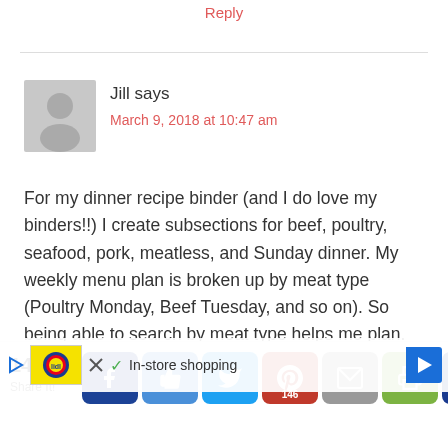Reply
Jill says
March 9, 2018 at 10:47 am
For my dinner recipe binder (and I do love my binders!!) I create subsections for beef, poultry, seafood, pork, meatless, and Sunday dinner. My weekly menu plan is broken up by meat type (Poultry Monday, Beef Tuesday, and so on). So being able to search by meat type helps me plan. Also, if there’s one type of ... on of recipes ...
[Figure (screenshot): Ad overlay with Lidl logo, play/close buttons, checkmark icon, In-store shopping text, and navigation arrow]
146
Share It!